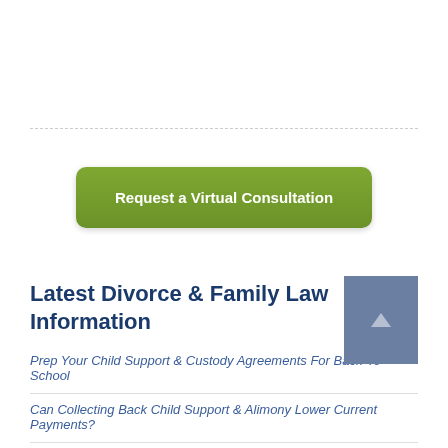[Figure (other): Green button: Request a Virtual Consultation]
Latest Divorce & Family Law Information
Prep Your Child Support & Custody Agreements For Back-To-School
Can Collecting Back Child Support & Alimony Lower Current Payments?